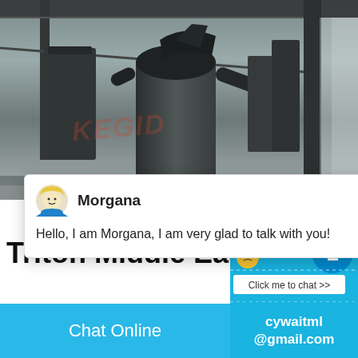[Figure (photo): Industrial facility interior showing large metal silos, ducts and pipes in a warehouse/factory setting. KEGIX watermark visible.]
[Figure (screenshot): Live chat popup from user Morgana with avatar, showing message: Hello, I am Morgana, I am very glad to talk with you! Close button (×) visible in top right.]
Triton Middle East
[Figure (infographic): Live chat widget on right side showing red and green bars, gray ball, blue badge with number 1, angry emoji, and 'Click me to chat >>' button. Below: Enquiry section and cywaitml@gmail.com contact.]
Chat Online
cywaitml @gmail.com